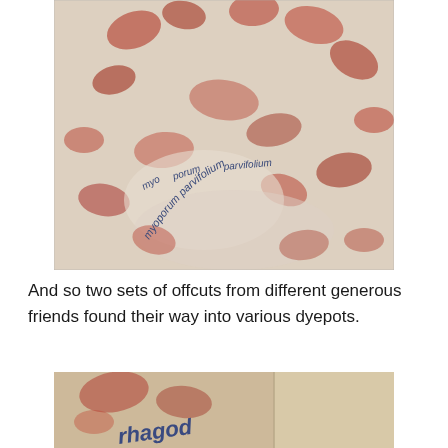[Figure (photo): Close-up photo of a fabric piece with mottled red and cream botanical eco-print pattern. Handwritten curved text reads 'myoporum parvifolium' in blue ink arching across the fabric.]
And so two sets of offcuts from different generous friends found their way into various dyepots.
[Figure (photo): Bottom portion of a photo showing fabric with reddish eco-print marks and handwritten text partially visible reading 'rhagod' in blue cursive lettering, with another fabric piece visible alongside.]